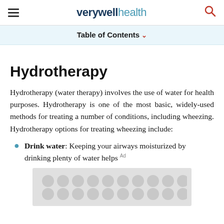verywell health
Table of Contents
Hydrotherapy
Hydrotherapy (water therapy) involves the use of water for health purposes. Hydrotherapy is one of the most basic, widely-used methods for treating a number of conditions, including wheezing. Hydrotherapy options for treating wheezing include:
Drink water: Keeping your airways moisturized by drinking plenty of water helps